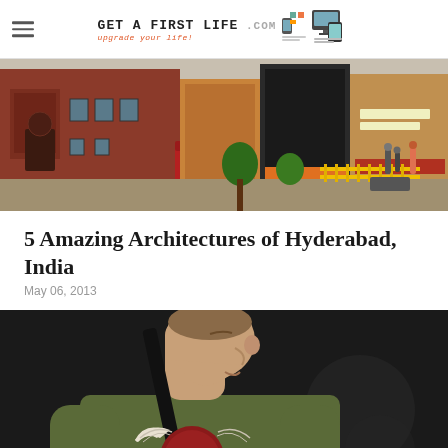Get A First Life .com — upgrade your life!
[Figure (photo): Street scene with red brick buildings and shops, people walking, outdoor market area in Hyderabad, India]
5 Amazing Architectures of Hyderabad, India
May 06, 2013
[Figure (photo): Man playing guitar, wearing an olive green t-shirt with a winged number 11 graphic, photographed from the side in low light]